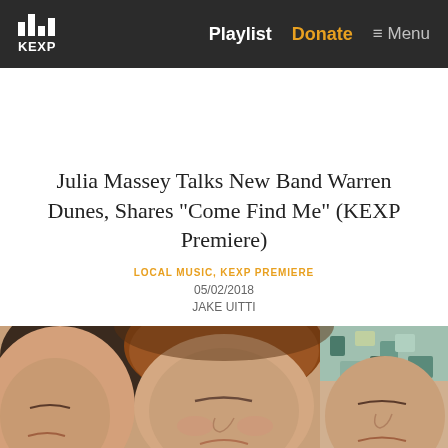KEXP | Playlist | Donate | Menu
Julia Massey Talks New Band Warren Dunes, Shares "Come Find Me" (KEXP Premiere)
LOCAL MUSIC, KEXP PREMIERE
05/02/2018
JAKE UITTI
[Figure (photo): Close-up photo of three people lying down with heads together, faces partially visible, one person with red/brown hair in center]